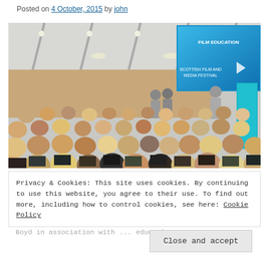Posted on 4 October, 2015 by john
[Figure (photo): A large audience seated in a modern conference room, facing a projection screen showing a Scottish Film and Education Festival presentation, with two presenters standing at the front.]
Privacy & Cookies: This site uses cookies. By continuing to use this website, you agree to their use. To find out more, including how to control cookies, see here: Cookie Policy
Close and accept
Boyd in association with ... education.